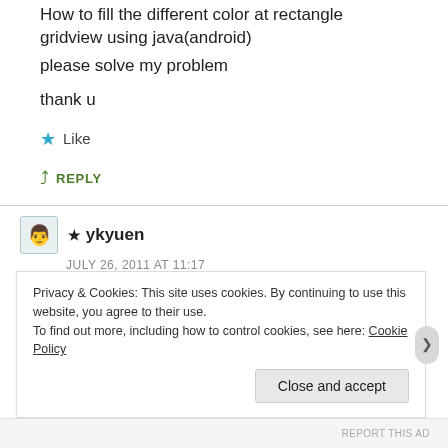How to fill the different color at rectangle gridview using java(android)
please solve my problem
thank u
★ Like
↪ REPLY
★ ykyuen
JULY 26, 2011 AT 11:17
try android:listSelector="@color/red" in your layout
Privacy & Cookies: This site uses cookies. By continuing to use this website, you agree to their use.
To find out more, including how to control cookies, see here: Cookie Policy
Close and accept